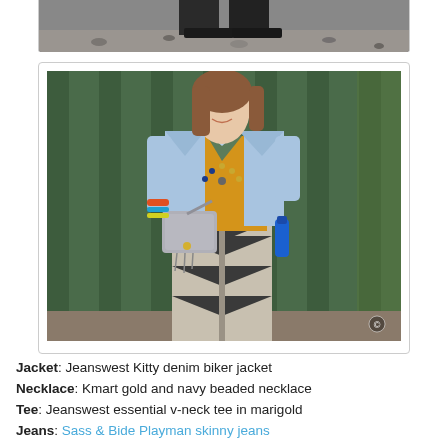[Figure (photo): Partial top of a photo showing feet/ground area with gravel, cropped at top of page]
[Figure (photo): Woman wearing a light blue denim biker jacket over a mustard/marigold v-neck tee, chevron print dark grey and tan skinny jeans, holding a grey crossbody bag with fringe hardware, colorful bracelets, beaded necklace, standing in front of dark green wooden fence slats]
Jacket: Jeanswest Kitty denim biker jacket
Necklace: Kmart gold and navy beaded necklace
Tee: Jeanswest essential v-neck tee in marigold
Jeans: Sass & Bide Playman skinny jeans